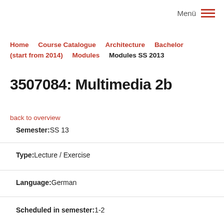Menü
Home  Course Catalogue  Architecture  Bachelor (start from 2014)  Modules  Modules SS 2013
3507084: Multimedia 2b
back to overview
Semester: SS 13
Type: Lecture / Exercise
Language: German
Scheduled in semester: 1-2